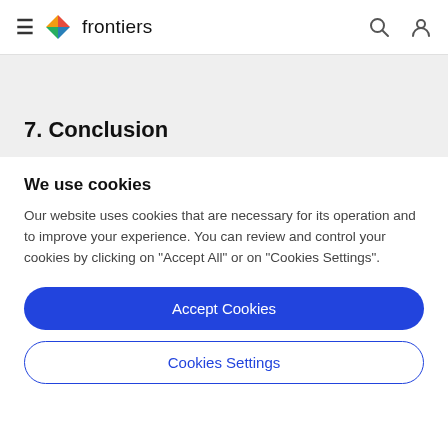frontiers
7. Conclusion
We use cookies
Our website uses cookies that are necessary for its operation and to improve your experience. You can review and control your cookies by clicking on "Accept All" or on "Cookies Settings".
Accept Cookies
Cookies Settings